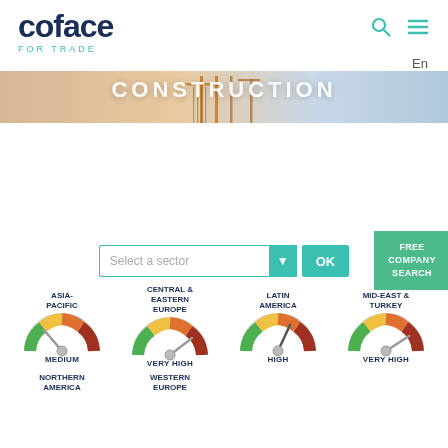[Figure (logo): Coface FOR TRADE logo in dark navy blue with teal subtitle]
CONSTRUCTION
[Figure (photo): Construction cranes against a sky background, banner image]
[Figure (screenshot): Select a sector dropdown with OK button and Free Company Search panel]
[Figure (infographic): Gauge/speedometer showing MEDIUM risk for ASIA-PACIFIC]
[Figure (infographic): Gauge/speedometer showing VERY HIGH risk for CENTRAL & EASTERN EUROPE]
[Figure (infographic): Gauge/speedometer showing HIGH risk for LATIN AMERICA]
[Figure (infographic): Gauge/speedometer showing VERY HIGH risk for MID-EAST & TURKEY]
NORTHERN AMERICA
WESTERN EUROPE